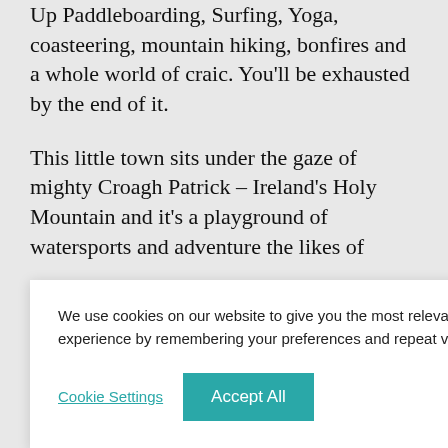Up Paddleboarding, Surfing, Yoga, coasteering, mountain hiking, bonfires and a whole world of craic. You'll be exhausted by the end of it.
This little town sits under the gaze of mighty Croagh Patrick – Ireland's Holy Mountain and it's a playground of watersports and adventure the likes of [partially obscured] ere [obscured] !
We use cookies on our website to give you the most relevant experience by remembering your preferences and repeat visits.
Cookie Settings
Accept All
CONTACT US